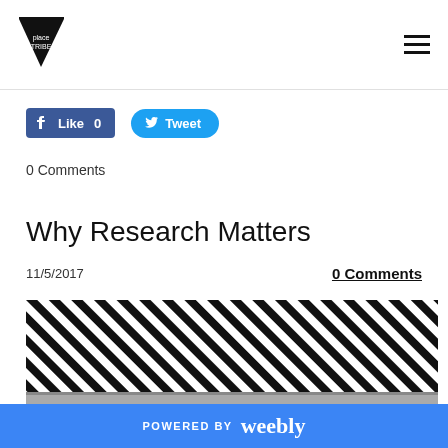Site logo and navigation menu
[Figure (screenshot): Facebook Like button showing 0 likes]
[Figure (screenshot): Twitter Tweet button]
0 Comments
Why Research Matters
11/5/2017
0 Comments
[Figure (photo): Diagonal black and white striped pattern image]
POWERED BY weebly